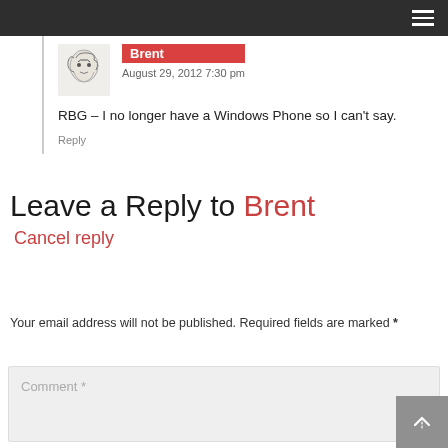Brent
August 29, 2012 7:30 pm
RBG – I no longer have a Windows Phone so I can't say.
Reply
Leave a Reply to Brent
Cancel reply
Your email address will not be published. Required fields are marked *
Comment *